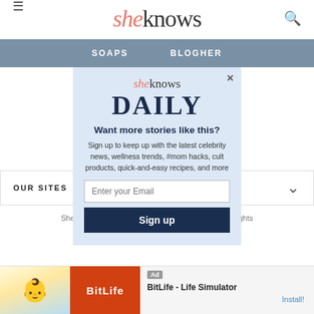sheknows — SOAPS  BLOGHER
OUR SITES
SheKnows is a pa... lia, LLC. All Rights
[Figure (screenshot): SheKnows daily newsletter signup modal popup with email input and Sign up button]
Report ad
[Figure (infographic): Ad banner: BitLife - Life Simulator with Install button]